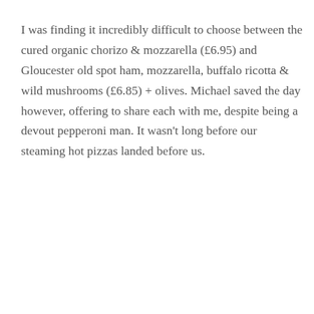I was finding it incredibly difficult to choose between the cured organic chorizo & mozzarella (£6.95) and Gloucester old spot ham, mozzarella, buffalo ricotta & wild mushrooms (£6.85) + olives. Michael saved the day however, offering to share each with me, despite being a devout pepperoni man. It wasn't long before our steaming hot pizzas landed before us.